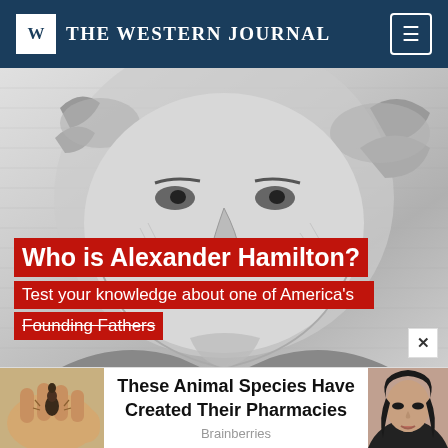THE WESTERN JOURNAL
[Figure (photo): Close-up engraving portrait of Alexander Hamilton from US currency, grayscale with detailed line engraving style]
Who is Alexander Hamilton?
Test your knowledge about one of America's Founding Fathers
[Figure (photo): Small fuzzy caterpillar on a hand]
These Animal Species Have Created Their Pharmacies
Brainberries
[Figure (photo): Woman portrait, dark hair]